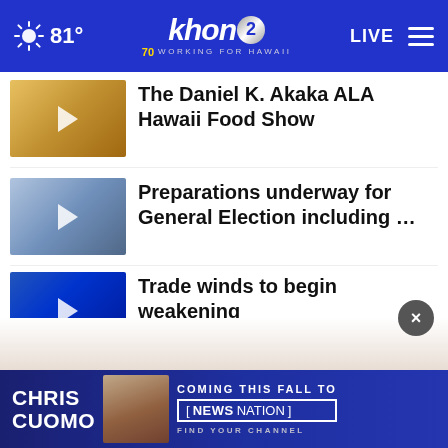81° khon2 WORKING FOR HAWAII LIVE
The Daniel K. Akaka ALA Hawaii Food Show
Preparations underway for General Election including …
Trade winds to begin weakening
More Stories ›
[Figure (screenshot): Chris Cuomo Coming This Fall to NewsNation advertisement banner]